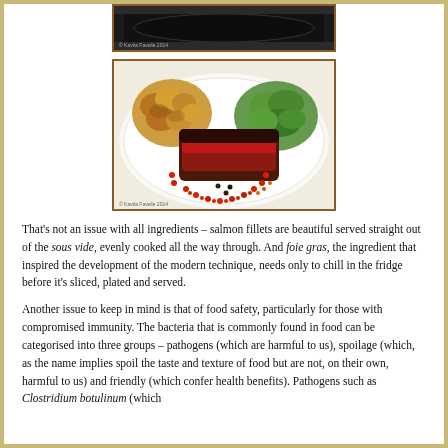[Figure (photo): Top portion of a cast iron pan from above, dark/black cookware, copyright Kavita Favelle 2014]
[Figure (photo): Plated dish on a white plate: sliced rare beef/steak in center, roasted potatoes on left, green salad on right, garnished with small red and dark spherical dots arranged in a circle, copyright Kavita Favelle 2014]
That's not an issue with all ingredients – salmon fillets are beautiful served straight out of the sous vide, evenly cooked all the way through. And foie gras, the ingredient that inspired the development of the modern technique, needs only to chill in the fridge before it's sliced, plated and served.
Another issue to keep in mind is that of food safety, particularly for those with compromised immunity. The bacteria that is commonly found in food can be categorised into three groups – pathogens (which are harmful to us), spoilage (which, as the name implies spoil the taste and texture of food but are not, on their own, harmful to us) and friendly (which confer health benefits). Pathogens such as Clostridium botulinum (which